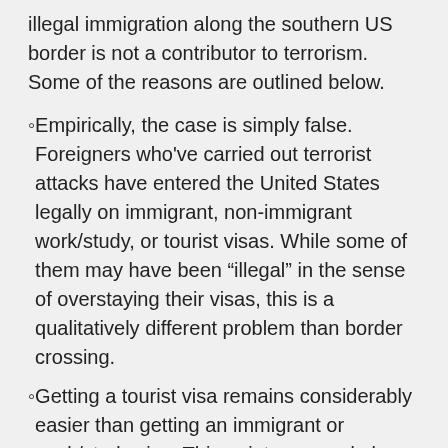illegal immigration along the southern US border is not a contributor to terrorism. Some of the reasons are outlined below.
Empirically, the case is simply false. Foreigners who've carried out terrorist attacks have entered the United States legally on immigrant, non-immigrant work/study, or tourist visas. While some of them may have been "illegal" in the sense of overstaying their visas, this is a qualitatively different problem than border crossing.
Getting a tourist visa remains considerably easier than getting an immigrant or work/study visa. This point was made by David Friedman in a blog post titled Immigration and Terrorism.
In recent history, most terrorism in the United States has been motivated by certain Islamist